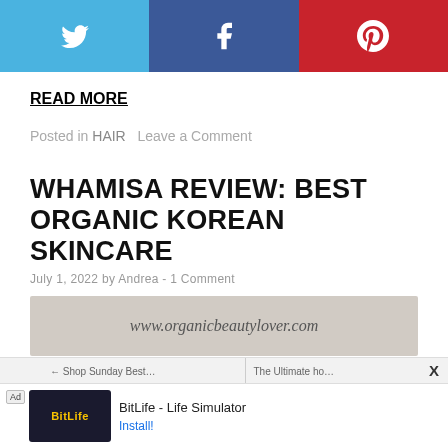[Figure (other): Social sharing bar with Twitter (blue), Facebook (dark blue), and Pinterest (red) buttons with white icons]
READ MORE
Posted in HAIR  Leave a Comment
WHAMISA REVIEW: BEST ORGANIC KOREAN SKINCARE
July 1, 2022 by Andrea - 1 Comment
[Figure (other): Watermark box showing www.organicbeautylover.com]
X
[Figure (screenshot): Advertisement for BitLife - Life Simulator with Ad label and Install button]